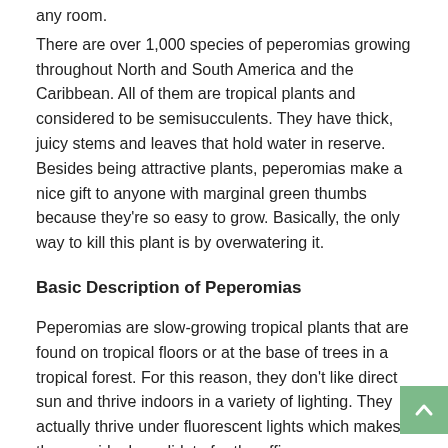any room.
There are over 1,000 species of peperomias growing throughout North and South America and the Caribbean. All of them are tropical plants and considered to be semisucculents. They have thick, juicy stems and leaves that hold water in reserve. Besides being attractive plants, peperomias make a nice gift to anyone with marginal green thumbs because they're so easy to grow. Basically, the only way to kill this plant is by overwatering it.
Basic Description of Peperomias
Peperomias are slow-growing tropical plants that are found on tropical floors or at the base of trees in a tropical forest. For this reason, they don't like direct sun and thrive indoors in a variety of lighting. They actually thrive under fluorescent lights which makes them an ideal candidate for the office.
The attractive stiff, waxy succulent-like leaves will catch your eye and depending on the species, the leaves may be